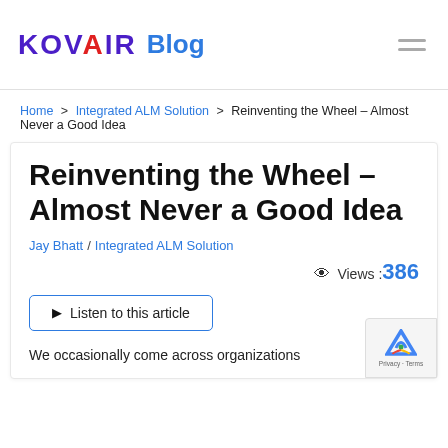KOVAIR Blog
Home > Integrated ALM Solution > Reinventing the Wheel – Almost Never a Good Idea
Reinventing the Wheel – Almost Never a Good Idea
Jay Bhatt / Integrated ALM Solution
Views :386
Listen to this article
We occasionally come across organizations